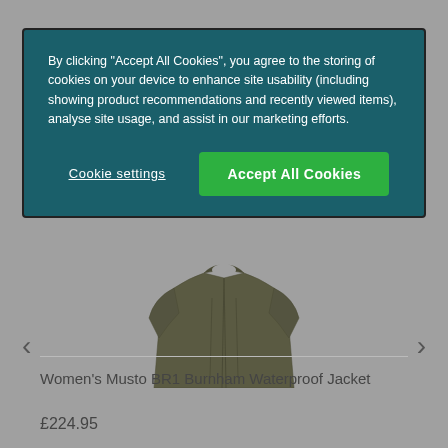By clicking “Accept All Cookies”, you agree to the storing of cookies on your device to enhance site usability (including showing product recommendations and recently viewed items), analyse site usage, and assist in our marketing efforts.
Cookie settings
Accept All Cookies
[Figure (illustration): Partial view of a dark olive/khaki women's waterproof jacket on a grey background]
Women’s Musto BR1 Burnham Waterproof Jacket
£224.95